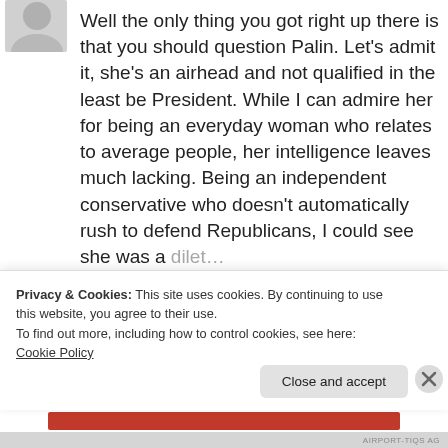[Figure (illustration): Gray silhouette avatar icon of a person, cropped at top-left]
Well the only thing you got right up there is that you should question Palin. Let's admit it, she's an airhead and not qualified in the least be President. While I can admire her for being an everyday woman who relates to average people, her intelligence leaves much lacking. Being an independent conservative who doesn't automatically rush to defend Republicans, I could see she was a [partially visible text cut off]
Privacy & Cookies: This site uses cookies. By continuing to use this website, you agree to their use.
To find out more, including how to control cookies, see here: Cookie Policy
Close and accept